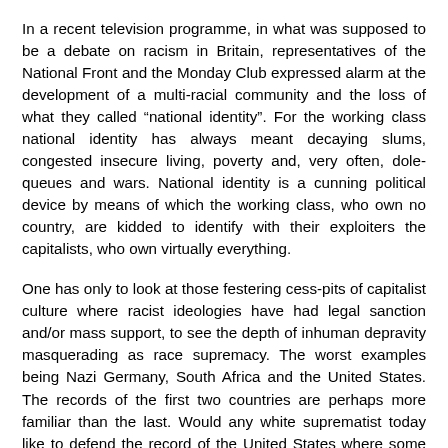In a recent television programme, in what was supposed to be a debate on racism in Britain, representatives of the National Front and the Monday Club expressed alarm at the development of a multi-racial community and the loss of what they called “national identity”. For the working class national identity has always meant decaying slums, congested insecure living, poverty and, very often, dole-queues and wars. National identity is a cunning political device by means of which the working class, who own no country, are kidded to identify with their exploiters the capitalists, who own virtually everything.
One has only to look at those festering cess-pits of capitalist culture where racist ideologies have had legal sanction and/or mass support, to see the depth of inhuman depravity masquerading as race supremacy. The worst examples being Nazi Germany, South Africa and the United States. The records of the first two countries are perhaps more familiar than the last. Would any white suprematist today like to defend the record of the United States where some 5,000 negroes were lynched during the hundred years up to 1961?